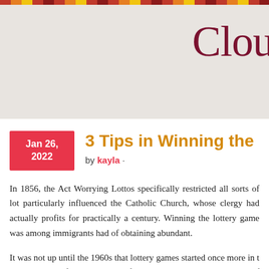Clou
3 Tips in Winning the Lottery
by kayla ·
In 1856, the Act Worrying Lottos specifically restricted all sorts of lot... particularly influenced the Catholic Church, whose clergy had actually... profits for practically a century. Winning the lottery game was among... immigrants had of obtaining abundant.
It was not up until the 1960s that lottery games started once more in t... should try to find the starts of modern-day lottos. The state of Queens... State Lottery Game of Australia in 1917 and also was the initial lotto... century.